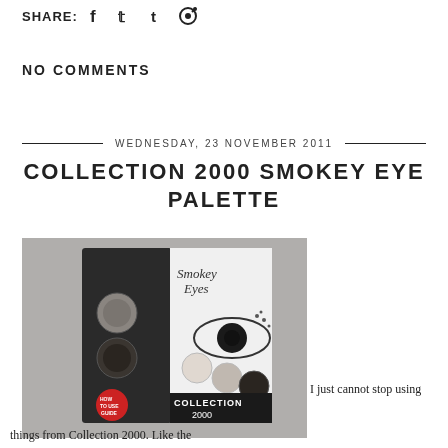SHARE: f t t p
NO COMMENTS
WEDNESDAY, 23 NOVEMBER 2011
COLLECTION 2000 SMOKEY EYE PALETTE
[Figure (photo): Photo of the Collection 2000 Smokey Eyes eyeshadow palette packaging, showing multiple eyeshadow pans in neutral and dark shades with an eye graphic on the box.]
I just cannot stop using things from Collection 2000. Like the